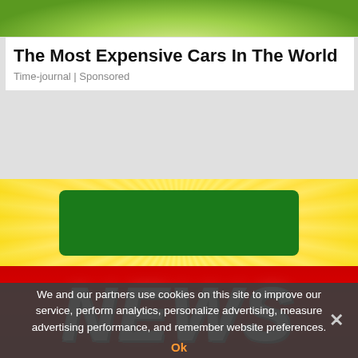[Figure (photo): Top strip showing green grass/foliage image]
The Most Expensive Cars In The World
Time-journal | Sponsored
[Figure (illustration): Yellow/gold radiant background banner with dark green rectangle in center]
[Figure (illustration): Red NEWS banner with large white bold italic NEWS text]
We and our partners use cookies on this site to improve our service, perform analytics, personalize advertising, measure advertising performance, and remember website preferences.
Ok